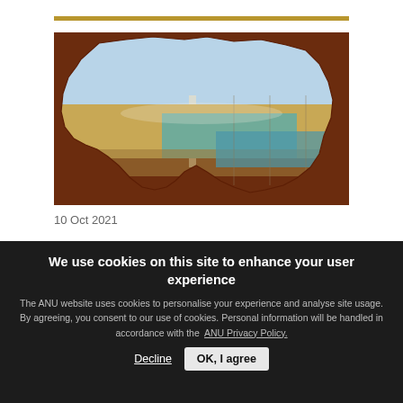[Figure (photo): Photo of an open map book shaped/cropped to the outline of Australia, set against a dark brown background. The map shows geographic features with blue, yellow and teal colors.]
10 Oct 2021
We use cookies on this site to enhance your user experience
The ANU website uses cookies to personalise your experience and analyse site usage. By agreeing, you consent to our use of cookies. Personal information will be handled in accordance with the ANU Privacy Policy.
Decline  OK, I agree